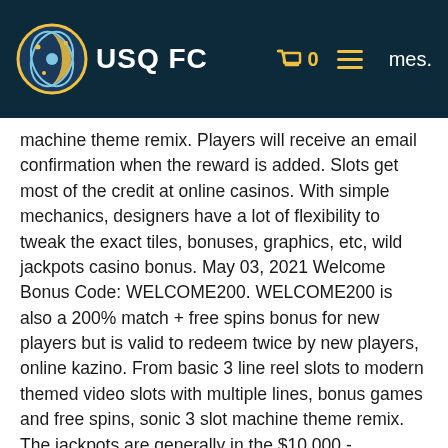USQ FC  0  [hamburger menu]  mes.
machine theme remix. Players will receive an email confirmation when the reward is added. Slots get most of the credit at online casinos. With simple mechanics, designers have a lot of flexibility to tweak the exact tiles, bonuses, graphics, etc, wild jackpots casino bonus. May 03, 2021 Welcome Bonus Code: WELCOME200. WELCOME200 is also a 200% match + free spins bonus for new players but is valid to redeem twice by new players, online kazino. From basic 3 line reel slots to modern themed video slots with multiple lines, bonus games and free spins, sonic 3 slot machine theme remix. The jackpots are generally in the $10,000 - $100,000 range. Generally most of the top apps on Android Store have rating of 4+. PLAY LUCKY WOLF FREE